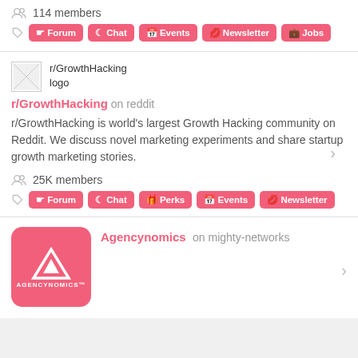114 members
Forum | Chat | Events | Newsletter | Jobs
[Figure (logo): r/GrowthHacking logo placeholder image]
r/GrowthHacking logo
r/GrowthHacking on reddit
r/GrowthHacking is world's largest Growth Hacking community on Reddit. We discuss novel marketing experiments and share startup growth marketing stories.
25K members
Forum | Chat | Perks | Events | Newsletter
[Figure (logo): Agencynomics logo — pink square with triangle/chevron icon and AGENCYNOMICS wordmark]
Agencynomics on mighty-networks